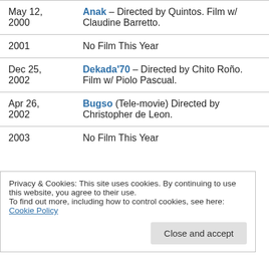| Date | Film Info |
| --- | --- |
| May 12, 2000 | Anak – Directed by Quintos. Film w/ Claudine Barretto. |
| 2001 | No Film This Year |
| Dec 25, 2002 | Dekada'70 – Directed by Chito Roño. Film w/ Piolo Pascual. |
| Apr 26, 2002 | Bugso (Tele-movie) Directed by Christopher de Leon. |
| 2003 | No Film This Year |
Privacy & Cookies: This site uses cookies. By continuing to use this website, you agree to their use.
To find out more, including how to control cookies, see here: Cookie Policy